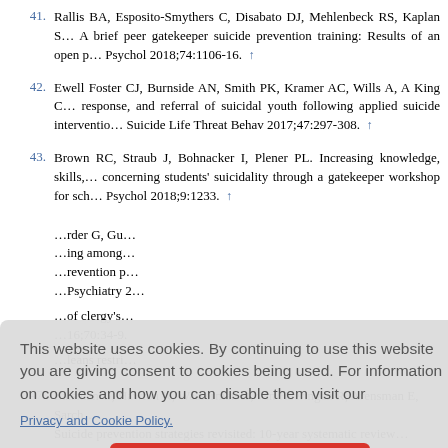41. Rallis BA, Esposito-Smythers C, Disabato DJ, Mehlenbeck RS, Kaplan S... A brief peer gatekeeper suicide prevention training: Results of an open p... Psychol 2018;74:1106-16. ↑
42. Ewell Foster CJ, Burnside AN, Smith PK, Kramer AC, Wills A, A King C... response, and referral of suicidal youth following applied suicide interventio... Suicide Life Threat Behav 2017;47:297-308. ↑
43. Brown RC, Straub J, Bohnacker I, Plener PL. Increasing knowledge, skills... concerning students' suicidality through a gatekeeper workshop for sch... Psychol 2018;9:1233. ↑
This website uses cookies. By continuing to use this website you are giving consent to cookies being used. For information on cookies and how you can disable them visit our Privacy and Cookie Policy.
AGREE & PROCEED
47. Zalsman G, Hawton K, Wasserman D, van Heeringen R, Arensman E, Sarch... Suicide prevention strategies revisited: 10-year systematic review...